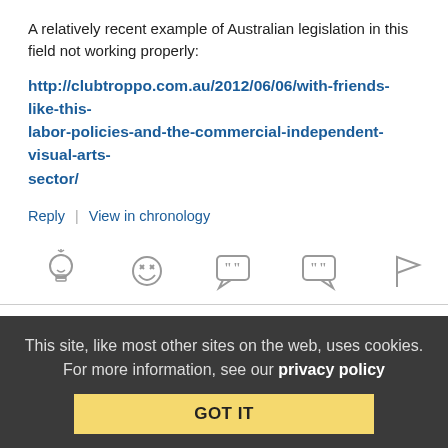A relatively recent example of Australian legislation in this field not working properly:
http://clubtroppo.com.au/2012/06/06/with-friends-like-this-labor-policies-and-the-commercial-independent-visual-arts-sector/
Reply | View in chronology
[Figure (infographic): Row of five icon buttons: lightbulb (idea), laughing face (funny), speech bubble with quote marks (quote), speech bubble with quote marks (quote variant), flag (report)]
DanZee (profile) June 8, 2012 at 11:19 am
This site, like most other sites on the web, uses cookies. For more information, see our privacy policy GOT IT